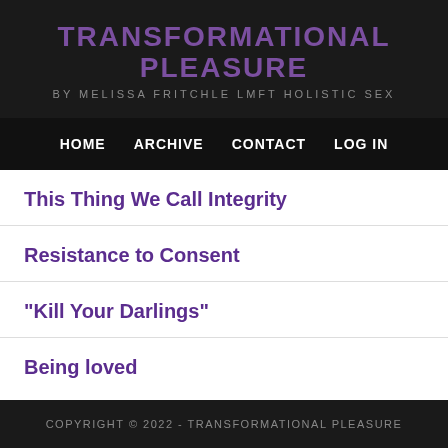TRANSFORMATIONAL PLEASURE
BY MELISSA FRITCHLE LMFT HOLISTIC SEX
HOME  ARCHIVE  CONTACT  LOG IN
This Thing We Call Integrity
Resistance to Consent
"Kill Your Darlings"
Being loved
COPYRIGHT © 2022 - TRANSFORMATIONAL PLEASURE